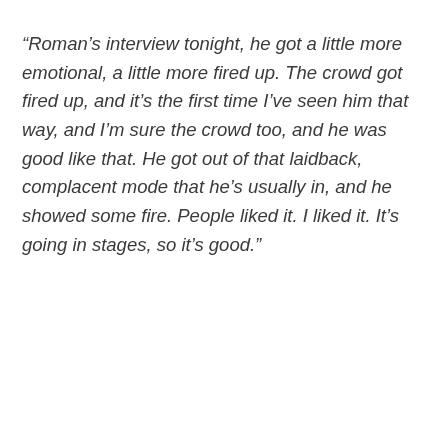“Roman’s interview tonight, he got a little more emotional, a little more fired up. The crowd got fired up, and it’s the first time I’ve seen him that way, and I’m sure the crowd too, and he was good like that. He got out of that laidback, complacent mode that he’s usually in, and he showed some fire. People liked it. I liked it. It’s going in stages, so it’s good.”